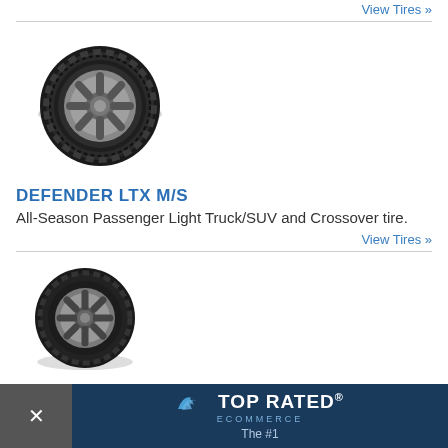View Tires »
[Figure (photo): Michelin Defender LTX M/S tire product photo - SUV/truck tire with aluminum wheel]
DEFENDER LTX M/S
All-Season Passenger Light Truck/SUV and Crossover tire.
View Tires »
[Figure (photo): Michelin Defender T+H tire product photo - passenger car tire with alloy wheel]
DEFENDER T + H
All-Season Passeng
[Figure (logo): Top Rated Ecommerce badge overlay banner with X close button and text 'The #1']